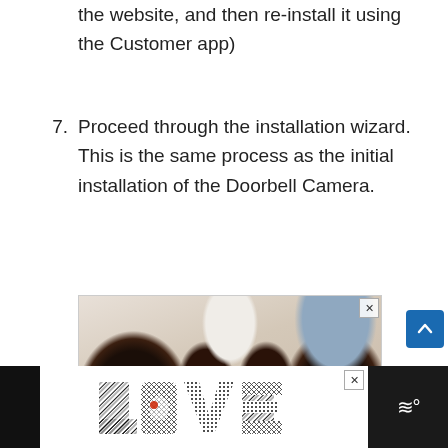the website, and then re-install it using the Customer app)
7. Proceed through the installation wizard. This is the same process as the initial installation of the Doorbell Camera.
[Figure (photo): A family of four people with curly dark hair lying on a bed looking up at the camera, smiling. Overhead shot.]
[Figure (advertisement): Bottom advertisement bar with stylized 'LOVE' text logo in decorative black patterned letters on white background, with dark sidebar areas and a close button.]